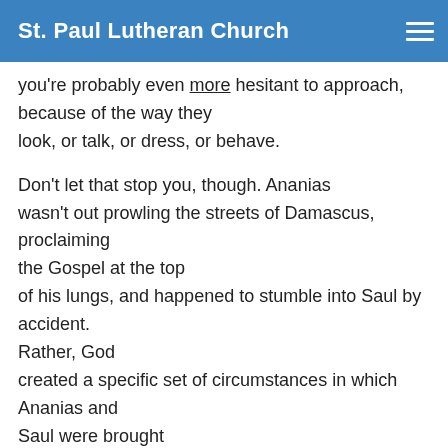St. Paul Lutheran Church
you're probably even more hesitant to approach, because of the way they look, or talk, or dress, or behave.
Don't let that stop you, though. Ananias wasn't out prowling the streets of Damascus, proclaiming the Gospel at the top of his lungs, and happened to stumble into Saul by accident. Rather, God created a specific set of circumstances in which Ananias and Saul were brought together, and Ananias was given what he was to say and do for the benefit of Saul. God has promised, through Christ, that he would do this for believers.